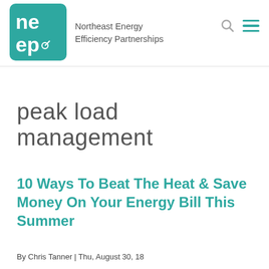[Figure (logo): NEEP (Northeast Energy Efficiency Partnerships) teal logo square with letters ne ep and organization name]
peak load management
10 Ways To Beat The Heat & Save Money On Your Energy Bill This Summer
By Chris Tanner | Thu, August 30, 18